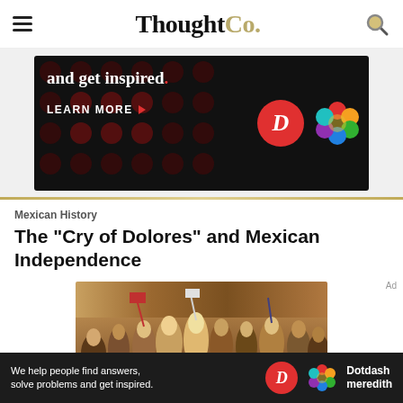ThoughtCo.
[Figure (screenshot): Advertisement banner with dark background, polka dot pattern, text 'and get inspired.' with red dot, 'LEARN MORE' button with red arrow, D logo circle in red and white, and colorful geometric flower logo]
Mexican History
The "Cry of Dolores" and Mexican Independence
[Figure (photo): Painting depicting a crowd scene of the Mexican independence movement, featuring figures in historical clothing raising arms and flags]
Ad
We help people find answers, solve problems and get inspired. Dotdash meredith